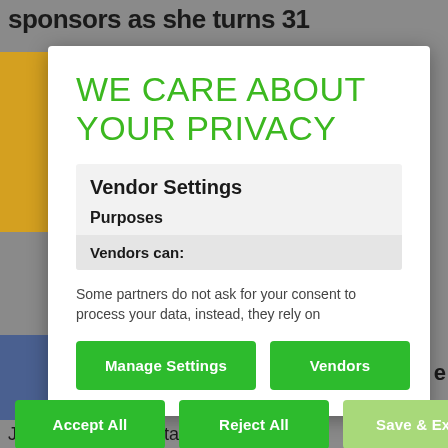sponsors as she turns 31
[Figure (screenshot): Background website content partially visible behind a privacy consent modal dialog]
WE CARE ABOUT YOUR PRIVACY
Vendor Settings
Purposes
Vendors can:
Some partners do not ask for your consent to process your data, instead, they rely on
Manage Settings
Vendors
Accept All
Reject All
Save & Exit
Juliana Kanyomozi talking motherhood